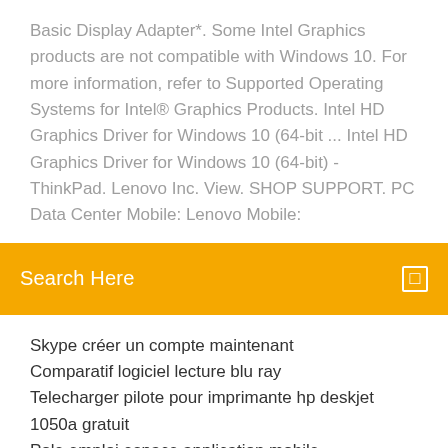Basic Display Adapter*. Some Intel Graphics products are not compatible with Windows 10. For more information, refer to Supported Operating Systems for Intel® Graphics Products. Intel HD Graphics Driver for Windows 10 (64-bit ... Intel HD Graphics Driver for Windows 10 (64-bit) - ThinkPad. Lenovo Inc. View. SHOP SUPPORT. PC Data Center Mobile: Lenovo Mobile:
Search Here
Skype créer un compte maintenant
Comparatif logiciel lecture blu ray
Telecharger pilote pour imprimante hp deskjet 1050a gratuit
Pole emploi espace application mobile
Télécharger skype gratuit pour android
Street fighter x tekken pc trainer gratuit télécharger
Actualités google en francais
Windows movie maker microsoft 7